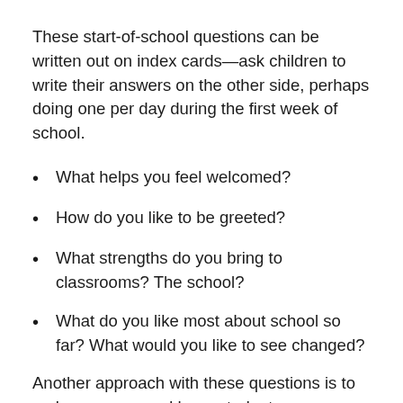These start-of-school questions can be written out on index cards—ask children to write their answers on the other side, perhaps doing one per day during the first week of school.
What helps you feel welcomed?
How do you like to be greeted?
What strengths do you bring to classrooms? The school?
What do you like most about school so far? What would you like to see changed?
Another approach with these questions is to make a survey and have students